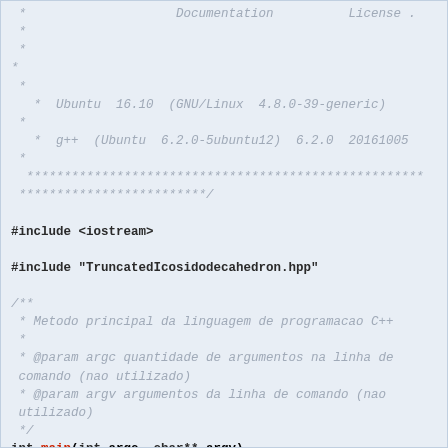Source code listing showing C++ file with comment block and main function header including #include directives and Doxygen-style comments in Portuguese